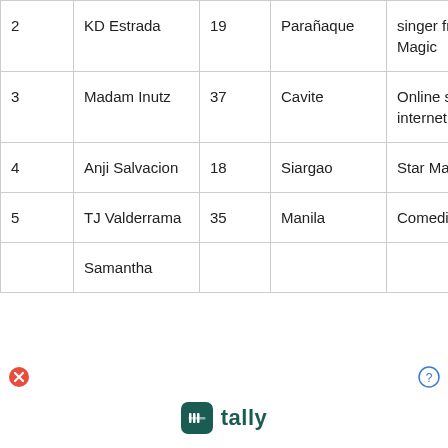| # | Name | Age | Location | Description |
| --- | --- | --- | --- | --- |
| 2 | KD Estrada | 19 | Parañaque | singer from Star Magic |
| 3 | Madam Inutz | 37 | Cavite | Online seller and internet personality |
| 4 | Anji Salvacion | 18 | Siargao | Star Magic artist |
| 5 | TJ Valderrama | 35 | Manila | Comedian |
|  | Samantha |  |  |  |
[Figure (logo): Tally logo with teal rounded square icon and 'tally' text]